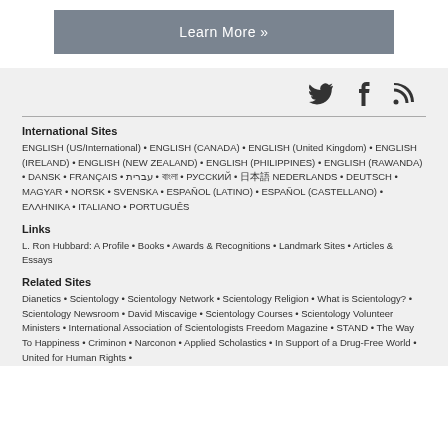[Figure (other): Learn More button (grey rounded rectangle with white text 'Learn More »')]
[Figure (other): Social media icons: Twitter bird, Facebook f, RSS feed icon]
International Sites
ENGLISH (US/International) • ENGLISH (CANADA) • ENGLISH (United Kingdom) • ENGLISH (IRELAND) • ENGLISH (NEW ZEALAND) • ENGLISH (PHILIPPINES) • ENGLISH (RAWANDA) • DANSK • FRANÇAIS • עברית • বাংলা • РУССКИЙ • 日本語 NEDERLANDS • DEUTSCH • MAGYAR • NORSK • SVENSKA • ESPAÑOL (LATINO) • ESPAÑOL (CASTELLANO) • ΕΛΛΗΝΙΚΑ • ITALIANO • PORTUGUÊS
Links
L. Ron Hubbard: A Profile • Books • Awards & Recognitions • Landmark Sites • Articles & Essays
Related Sites
Dianetics • Scientology • Scientology Network • Scientology Religion • What is Scientology? • Scientology Newsroom • David Miscavige • Scientology Courses • Scientology Volunteer Ministers • International Association of Scientologists Freedom Magazine • STAND • The Way To Happiness • Criminon • Narconon • Applied Scholastics • In Support of a Drug-Free World • United for Human Rights •